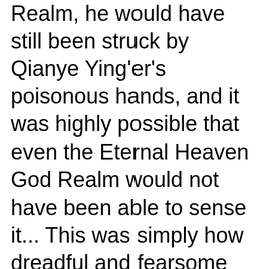Realm, he would have still been struck by Qianye Ying'er's poisonous hands, and it was highly possible that even the Eternal Heaven God Realm would not have been able to sense it... This was simply how dreadful and fearsome Qianye Ying'er was.
As the Eternal Heaven God Emperor's voice faded away, an ancient voice suddenly rang out